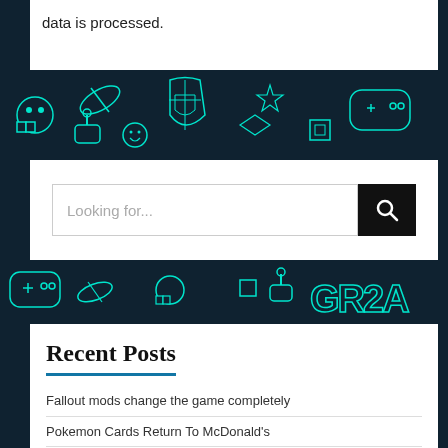data is processed.
[Figure (illustration): Dark teal gaming-themed banner with neon cyan outline icons of game controllers, shields, capsules, pac-man, and other gaming symbols]
Looking for...
[Figure (illustration): Dark teal gaming-themed banner with neon cyan outline icons including a game controller and retro gaming symbols]
Recent Posts
Fallout mods change the game completely
Pokemon Cards Return To McDonald's
Dead Island 2 Returns from the Dead: Screenshots, teasers and possible release date!